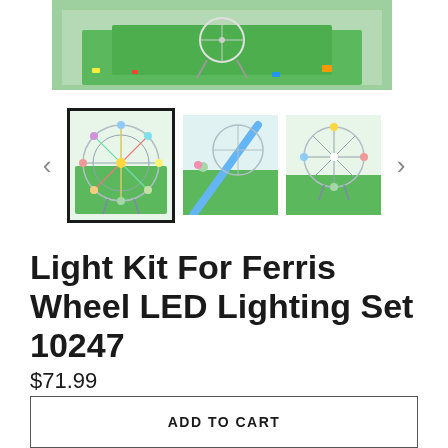[Figure (photo): Main product image showing a LEGO Ferris Wheel set (10247) on a green baseplate with LED lighting kit installed, viewed from above/side angle]
[Figure (photo): Thumbnail 1 (selected): Close-up of Ferris Wheel with colorful LED lights glowing]
[Figure (photo): Thumbnail 2: Side view of the Ferris Wheel structure with blue diagonal support visible]
[Figure (photo): Thumbnail 3: Another angle of the Ferris Wheel set]
Light Kit For Ferris Wheel LED Lighting Set 10247
$71.99
ADD TO CART